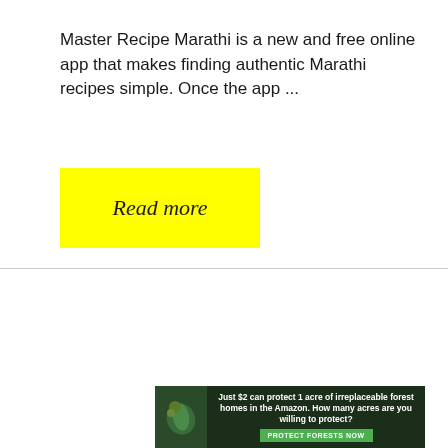Master Recipe Marathi is a new and free online app that makes finding authentic Marathi recipes simple. Once the app ...
[Figure (other): Yellow 'Read more' button with cursive script text]
Cottage Cheese Roast Vegetarian Meatloaf Recipe: Top 10 Health Benefits
[Figure (other): Advertisement banner: 'Just $2 can protect 1 acre of irreplaceable forest homes in the Amazon. How many acres are you willing to protect?' with a 'PROTECT FORESTS NOW' green button and forest background image with bird]